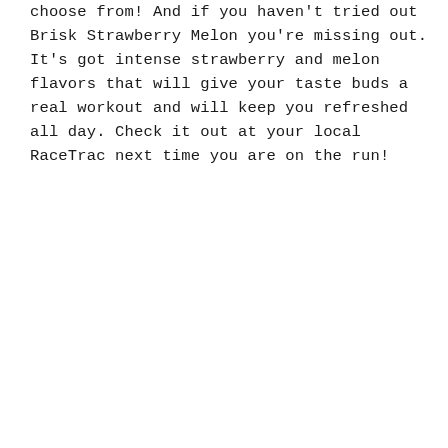choose from! And if you haven't tried out Brisk Strawberry Melon you're missing out. It's got intense strawberry and melon flavors that will give your taste buds a real workout and will keep you refreshed all day. Check it out at your local RaceTrac next time you are on the run!